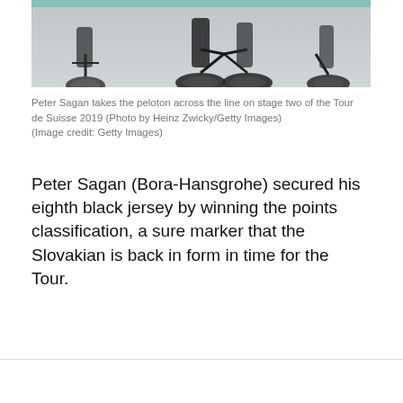[Figure (photo): Cyclists in a peloton, showing the lower portion of bikes and riders crossing a finish line or road surface. Black and white toned photograph shot from ground level.]
Peter Sagan takes the peloton across the line on stage two of the Tour de Suisse 2019 (Photo by Heinz Zwicky/Getty Images)
(Image credit: Getty Images)
Peter Sagan (Bora-Hansgrohe) secured his eighth black jersey by winning the points classification, a sure marker that the Slovakian is back in form in time for the Tour.